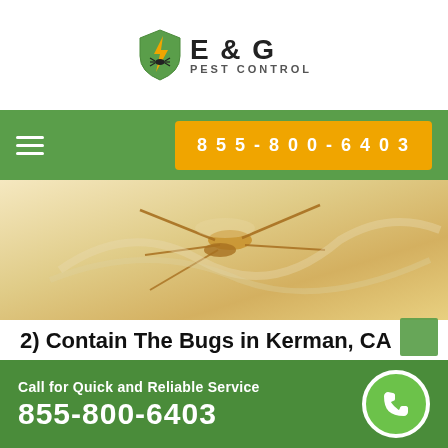[Figure (logo): E & G Pest Control logo with shield icon containing lightning bolt and bug]
[Figure (screenshot): Navigation bar with hamburger menu and phone number button 855-800-6403 on green background]
[Figure (photo): Close-up macro photo of an insect (mosquito or similar bug) on a light beige/cream surface]
2) Contain The Bugs in Kerman, CA
Once you've identified the infested areas, you need to take steps to contain the bugs and prevent them from
[Figure (other): Footer bar with Call for Quick and Reliable Service text, phone number 855-800-6403, and green phone icon circle]